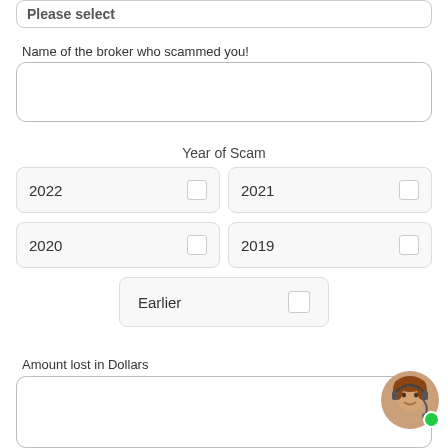Please select
Name of the broker who scammed you!
Year of Scam
2022
2021
2020
2019
Earlier
Amount lost in Dollars